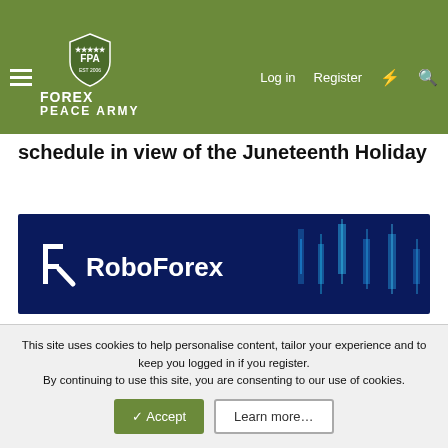FOREX PEACE ARMY — Log in | Register
schedule in view of the Juneteenth Holiday
[Figure (logo): RoboForex logo banner with dark blue background and candlestick chart graphics]
Dear Clients and Partners,
We are informing you that changes will be made to the trading schedule due to the Juneteenth Holiday in the US.
This schedule is for informational purposes only and may be subject to further changes.
This site uses cookies to help personalise content, tailor your experience and to keep you logged in if you register. By continuing to use this site, you are consenting to our use of cookies.